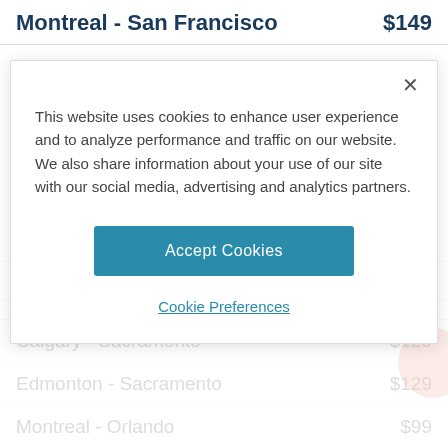Montreal - San Francisco $149
This website uses cookies to enhance user experience and to analyze performance and traffic on our website. We also share information about your use of our site with our social media, advertising and analytics partners.
Accept Cookies
Cookie Preferences
Vancouver - Sacramento $129
ADVERTISEMENT
Calgary - Sacramento $129
Edmonton - Sacramento $129
Montreal - Orlando $99